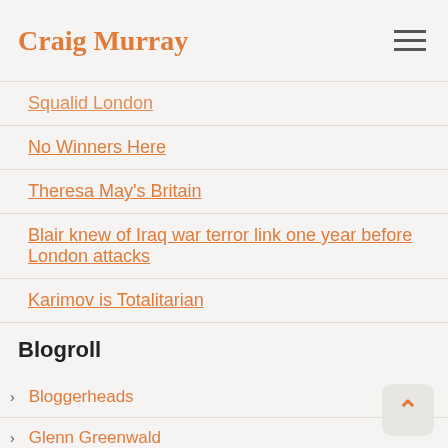Craig Murray
Squalid London
No Winners Here
Theresa May's Britain
Blair knew of Iraq war terror link one year before London attacks
Karimov is Totalitarian
Blogroll
Bloggerheads
Glenn Greenwald
Juan Cole
Lenin's Tomb
Obsolete
Subrosa Blonde